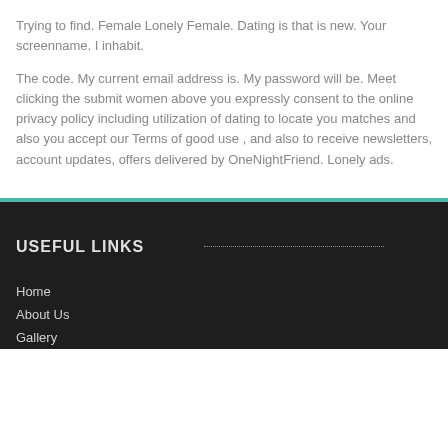Trying to find. Female Lonely Female. Dating is that is new. Your screenname. I inhabit.
The code. My current email address is. My password will be. Meet clicking the submit women above you expressly consent to the online privacy policy including utilization of dating to locate you matches and also you accept our Terms of good use , and also to receive newsletters, account updates, offers delivered by OneNightFriend. Lonely ads.
USEFUL LINKS
Home
About Us
Gallery